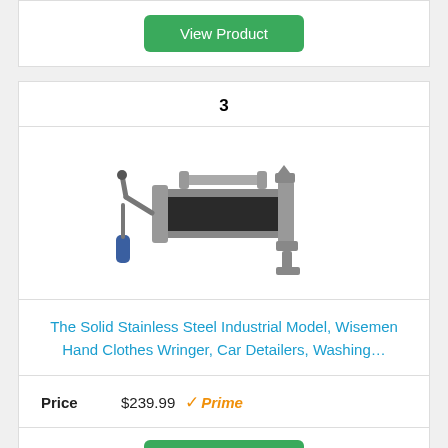View Product
3
[Figure (photo): A hand-cranked clothes wringer with stainless steel rollers and metal frame, shown at an angle]
The Solid Stainless Steel Industrial Model, Wisemen Hand Clothes Wringer, Car Detailers, Washing…
Price $239.99 Prime
View Product